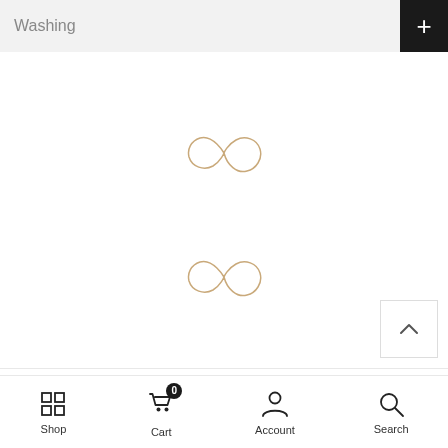Washing
[Figure (logo): Infinity/loop symbol logo icon, tan/beige color, upper position]
[Figure (logo): Infinity/loop symbol logo icon, tan/beige color, lower position]
Pink / 3M
- 1 +
ADD TO CART
Shop  Cart 0  Account  Search